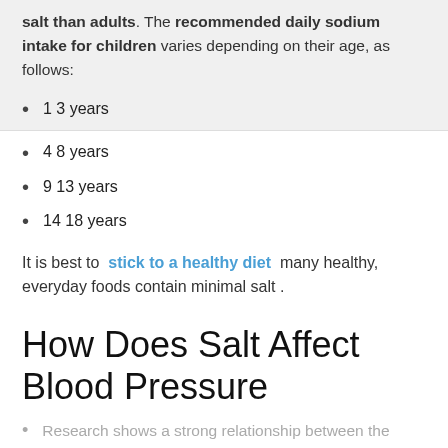salt than adults. The recommended daily sodium intake for children varies depending on their age, as follows:
1 3 years
4 8 years
9 13 years
14 18 years
It is best to stick to a healthy diet many healthy, everyday foods contain minimal salt .
How Does Salt Affect Blood Pressure
Research shows a strong relationship between the